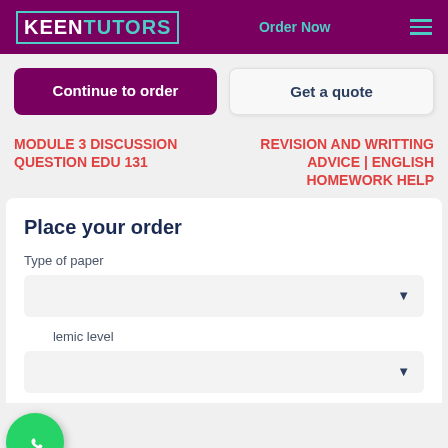KEEN TUTORS | Order Now
Continue to order
Get a quote
MODULE 3 DISCUSSION QUESTION EDU 131
REVISION AND WRITTING ADVICE | ENGLISH HOMEWORK HELP
Place your order
Type of paper
Academic level